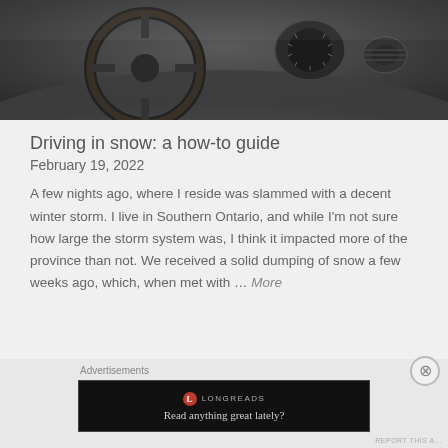[Figure (photo): Car interior dashboard and steering wheel view, dark tones, from driver perspective]
Driving in snow: a how-to guide
February 19, 2022
A few nights ago, where I reside was slammed with a decent winter storm. I live in Southern Ontario, and while I'm not sure how large the storm system was, I think it impacted more of the province than not. We received a solid dumping of snow a few weeks ago, which, when met with … More
Advertisements
[Figure (screenshot): Longreads advertisement banner: red circle logo with L, text LONGREADS, tagline 'Read anything great lately?' on black background]